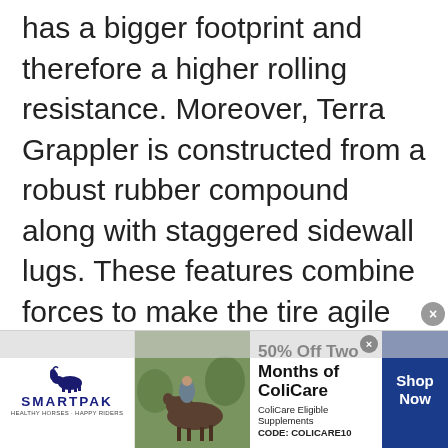has a bigger footprint and therefore a higher rolling resistance. Moreover, Terra Grappler is constructed from a robust rubber compound along with staggered sidewall lugs. These features combine forces to make the tire agile and durable. Subsequently, Baja MTZ has an economical tread-wear and greater endurance than the Terra
[Figure (screenshot): SmartPak advertisement banner: '50% Off Two Months of ColiCare - ColiCare Eligible Supplements - CODE: COLICARE10' with a horse and rider photo, SmartPak logo, and 'Shop Now' button]